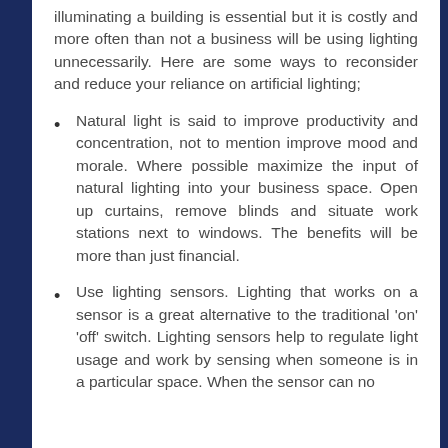illuminating a building is essential but it is costly and more often than not a business will be using lighting unnecessarily. Here are some ways to reconsider and reduce your reliance on artificial lighting;
Natural light is said to improve productivity and concentration, not to mention improve mood and morale. Where possible maximize the input of natural lighting into your business space. Open up curtains, remove blinds and situate work stations next to windows. The benefits will be more than just financial.
Use lighting sensors. Lighting that works on a sensor is a great alternative to the traditional 'on' 'off' switch. Lighting sensors help to regulate light usage and work by sensing when someone is in a particular space. When the sensor can no